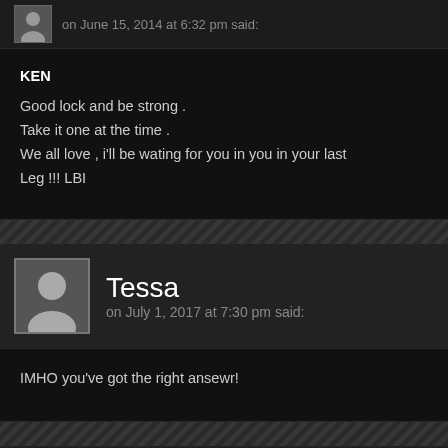on June 15, 2014 at 6:32 pm said:
KEN
Good lock and be strong .
Take it one at the time .
We all love , i'll be wating for you in you in your last Leg !!! LBI
Tessa
on July 1, 2017 at 7:30 pm said:
IMHO you've got the right ansewr!
cigarette electronique
on June 20, 2014 at 7:04 pm said: